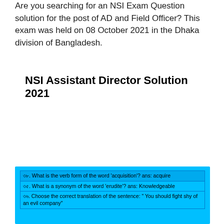Are you searching for an NSI Exam Question solution for the post of AD and Field Officer? This exam was held on 08 October 2021 in the Dhaka division of Bangladesh.
NSI Assistant Director Solution 2021
| ৩৮. What is the verb form of the word 'acquisition'? ans: acquire |
| ৩৫. What is a synonym of the word 'erudite'? ans: Knowledgeable |
| ৩৬. Choose the correct translation of the sentence: " You should fight shy of an evil company" |